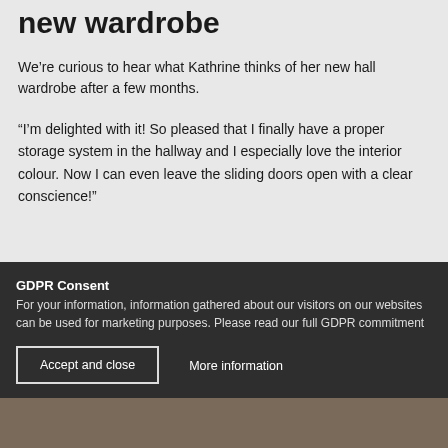new wardrobe
We’re curious to hear what Kathrine thinks of her new hall wardrobe after a few months.
“I’m delighted with it! So pleased that I finally have a proper storage system in the hallway and I especially love the interior colour. Now I can even leave the sliding doors open with a clear conscience!”
GDPR Consent
For your information, information gathered about our visitors on our websites can be used for marketing purposes. Please read our full GDPR commitment
Accept and close
More information